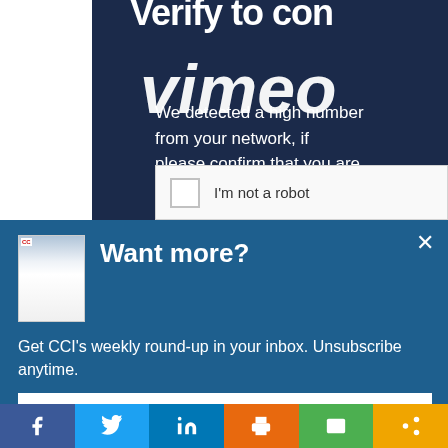[Figure (screenshot): Vimeo CAPTCHA verify page showing 'Verify to con...' heading with Vimeo logo overlay, text about detecting high number of requests asking to confirm human, and a reCAPTCHA 'I'm not a robot' checkbox]
Want more?
Get CCI's weekly round-up in your inbox. Unsubscribe anytime.
Let's do this!
[Figure (infographic): Social sharing bar with Facebook, Twitter, LinkedIn, Print, Email, and Share buttons]